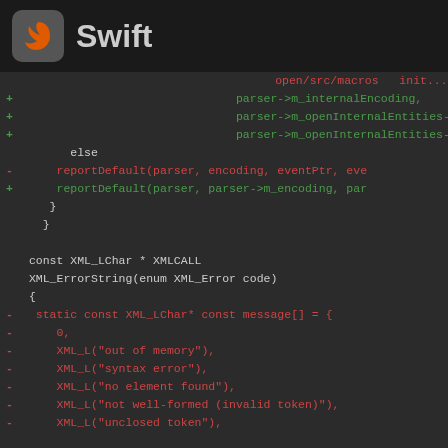Swift
Code diff showing Swift/XML parser changes including parser->m_internalEncoding, parser->m_openInternalEntities lines, else block with reportDefault calls, closing braces, and XML_ErrorString function with message array containing XML_L entries